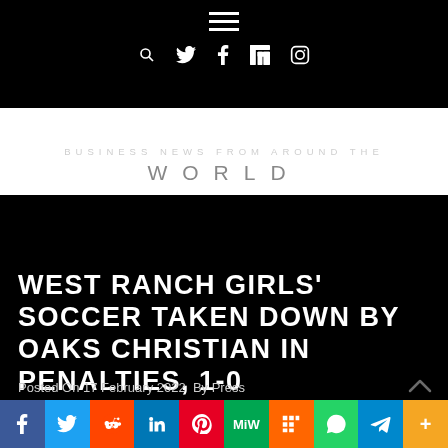WORLD
WEST RANCH GIRLS' SOCCER TAKEN DOWN BY OAKS CHRISTIAN IN PENALTIES, 1-0
Posted On 17 February 2022  By Press